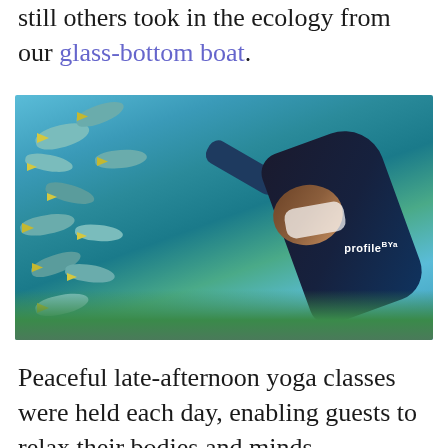still others took in the ecology from our glass-bottom boat.
[Figure (photo): Underwater photo of a snorkeler or diver in a black wetsuit (branded 'profile') surrounded by a school of tropical fish with yellow fins, swimming over a coral reef in blue-green water.]
Peaceful late-afternoon yoga classes were held each day, enabling guests to relax their bodies and minds.